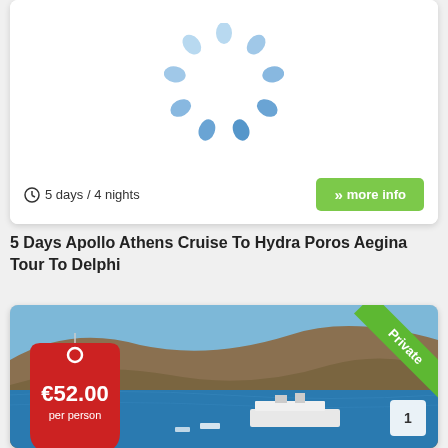[Figure (screenshot): Loading spinner animation with blue dots in circular arrangement on white background]
5 days / 4 nights
» more info
5 Days Apollo Athens Cruise To Hydra Poros Aegina Tour To Delphi
[Figure (photo): Aerial view of Greek island coastline with cruise ship in blue water, showing rocky hills and Mediterranean scenery. Price tag showing €52.00 per person in red. Private ribbon badge in green corner. Page number 1 badge.]